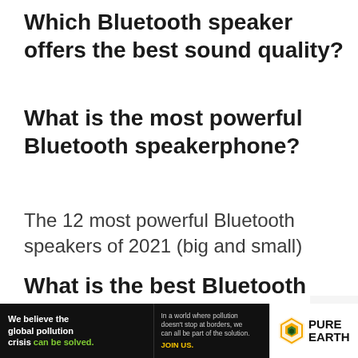Which Bluetooth speaker offers the best sound quality?
What is the most powerful Bluetooth speakerphone?
The 12 most powerful Bluetooth speakers of 2021 (big and small)
What is the best Bluetooth 2020 speakerphone?
[Figure (infographic): Advertisement banner: black background with 'We believe the global pollution crisis can be solved.' in white/green text, with Pure Earth logo on right side]